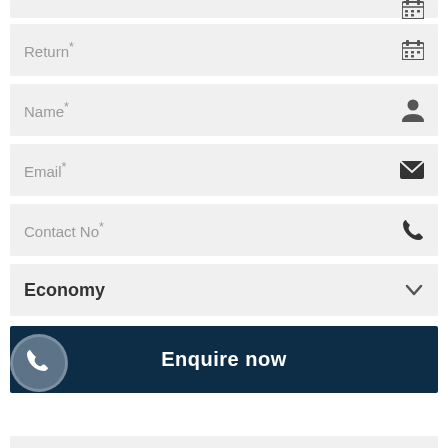Return*
Name*
Email*
Contact No*
Economy
Enquire now
[Figure (illustration): Phone/WhatsApp circular button icon with phone handset symbol on dark grey background]